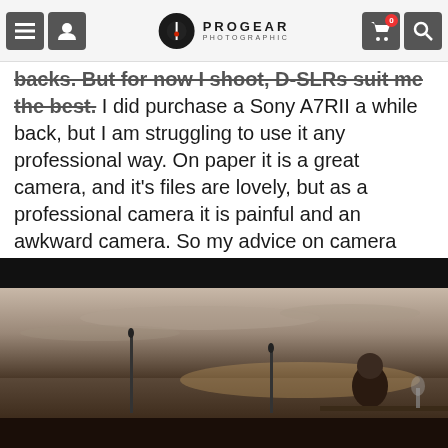PROGEAR PHOTOGRAPHIC
backs. But for now I shoot, D-SLRs suit me the best. I did purchase a Sony A7RII a while back, but I am struggling to use it any professional way. On paper it is a great camera, and it's files are lovely, but as a professional camera it is painful and an awkward camera. So my advice on camera gear, hire the camera you want to purchase and test it. Down buy from internet reviews!
[Figure (photo): Outdoor scene with a woman sitting at a table near water at dusk/sunset, with microphone stands visible, moody atmospheric lighting]